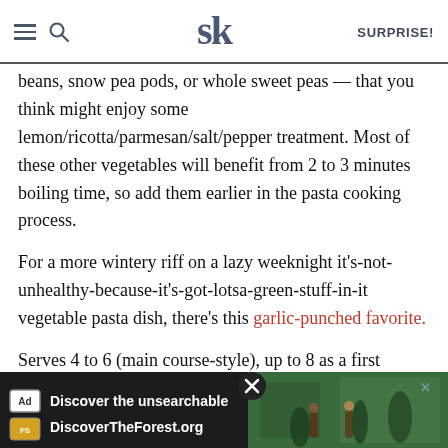SK SURPRISE!
beans, snow pea pods, or whole sweet peas — that you think might enjoy some lemon/ricotta/parmesan/salt/pepper treatment. Most of these other vegetables will benefit from 2 to 3 minutes boiling time, so add them earlier in the pasta cooking process.
For a more wintery riff on a lazy weeknight it's-not-unhealthy-because-it's-got-lotsa-green-stuff-in-it vegetable pasta dish, there's this garlic-punched favorite.
Serves 4 to 6 (main course-style), up to 8 as a first course
[Figure (screenshot): Advertisement banner for DiscoverTheForest.org with text 'Discover the unsearchable' and forest background image, with close button]